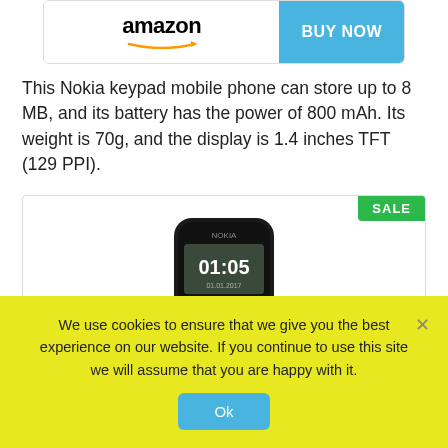[Figure (logo): Amazon buy now banner with Amazon logo and blue BUY NOW button]
This Nokia keypad mobile phone can store up to 8 MB, and its battery has the power of 800 mAh. Its weight is 70g, and the display is 1.4 inches TFT (129 PPI).
[Figure (photo): Nokia 105 keypad mobile phone in black color showing the display with time 01:05]
We use cookies to ensure that we give you the best experience on our website. If you continue to use this site we will assume that you are happy with it.